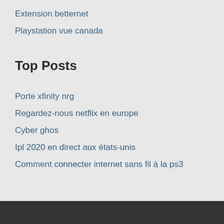Extension betternet
Playstation vue canada
Top Posts
Porte xfinity nrg
Regardez-nous netflix en europe
Cyber ghos
Ipl 2020 en direct aux états-unis
Comment connecter internet sans fil à la ps3